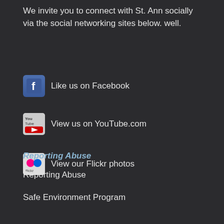We invite you to connect with St. Ann socially via the social networking sites below. well.
Like us on Facebook
View us on YouTube.com
View our Flickr photos
Reporting Abuse
Reporting Abuse
Safe Environment Program